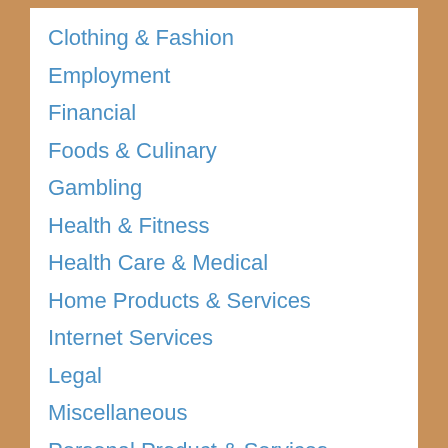Clothing & Fashion
Employment
Financial
Foods & Culinary
Gambling
Health & Fitness
Health Care & Medical
Home Products & Services
Internet Services
Legal
Miscellaneous
Personal Product & Services
Pets & Animals
property
Real Estate